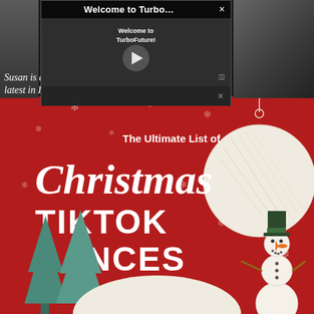[Figure (screenshot): Video popup overlay showing 'Welcome to Turbo...' title bar with close button (×), a video player area with play button and text 'Welcome to TurboFuture!', mute icon, and a secondary close (×) button below. Behind the popup is a dark web page background with large white numbers '8 6' and letters 'S A', and italic text 'Susan is an... ...g about the latest in Inte...' partially visible. Below the dark area is a red Christmas-themed infographic poster with the text 'The Ultimate List of Christmas TIKTOK DANCES', decorated with snowflakes, a hanging ornament ball, a cartoon snowman, teal Christmas trees, and a partial snowball at the bottom.]